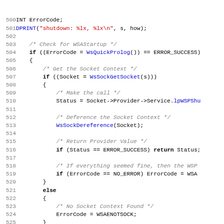[Figure (screenshot): Source code listing in C, lines 500-531, showing a socket shutdown function with error handling. Uses syntax highlighting: blue for function calls, red for string literals, gray italic for comments, bold for keywords.]